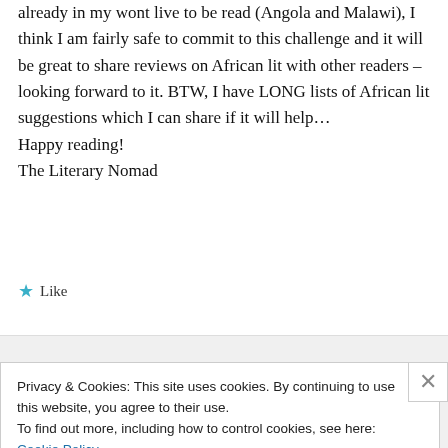already in my wont live to be read (Angola and Malawi), I think I am fairly safe to commit to this challenge and it will be great to share reviews on African lit with other readers – looking forward to it. BTW, I have LONG lists of African lit suggestions which I can share if it will help… Happy reading! The Literary Nomad
★ Like
Privacy & Cookies: This site uses cookies. By continuing to use this website, you agree to their use.
To find out more, including how to control cookies, see here: Cookie Policy
Close and accept